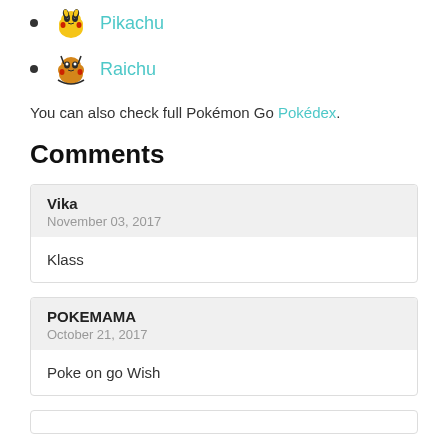Pikachu
Raichu
You can also check full Pokémon Go Pokédex.
Comments
Vika
November 03, 2017

Klass
POKEMAMA
October 21, 2017

Poke on go Wish